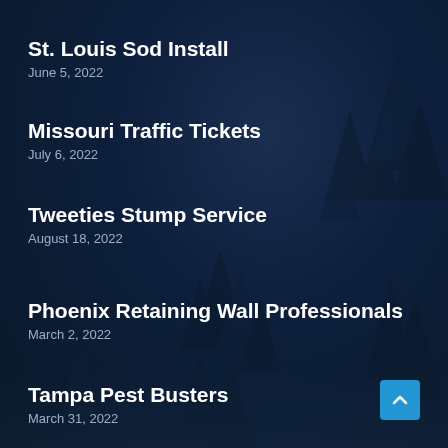St. Louis Sod Install
June 5, 2022
Missouri Traffic Tickets
July 6, 2022
Tweeties Stump Service
August 18, 2022
Phoenix Retaining Wall Professionals
March 2, 2022
Tampa Pest Busters
March 31, 2022